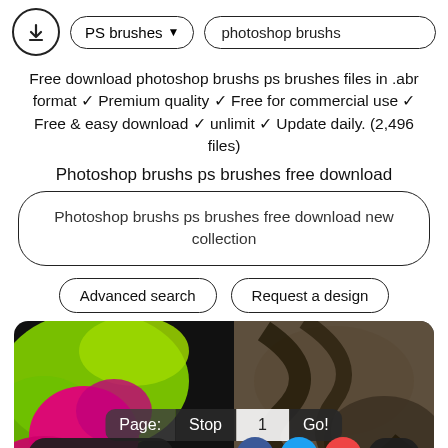[Figure (screenshot): Top navigation bar with download icon, PS brushes dropdown, and photoshop brushs search field]
Free download photoshop brushs ps brushes files in .abr format ✓ Premium quality ✓ Free for commercial use ✓ Free & easy download ✓ unlimit ✓ Update daily. (2,496 files)
Photoshop brushs ps brushes free download
Photoshop brushs ps brushes free download new collection
Advanced search
Request a design
[Figure (photo): Colorful abstract brush strokes image with neon green, magenta, and dark brown/black patterns as background with page navigation overlay showing Page: Stop 1 Go! and bottom bar with Advance Search, Facebook, Twitter, Plus, and Top buttons]